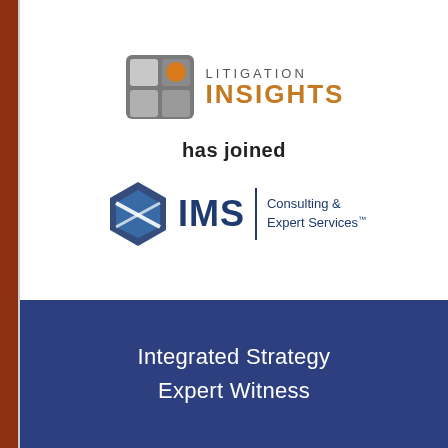[Figure (logo): Litigation Insights logo: a 2x2 grid icon with an orange circle in top-right tile, next to text reading LITIGATION INSIGHTS in gray and orange]
has joined
[Figure (logo): IMS Consulting & Expert Services logo: a blue hexagonal diamond shape next to IMS in bold dark blue with a vertical divider and Consulting & Expert Services text]
Integrated Strategy Expert Witness